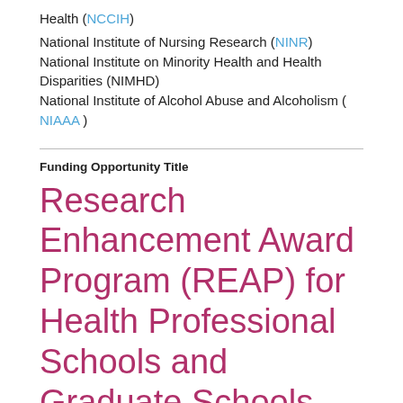Health (NCCIH)
National Institute of Nursing Research (NINR)
National Institute on Minority Health and Health Disparities (NIMHD)
National Institute of Alcohol Abuse and Alcoholism (NIAAA)
Funding Opportunity Title
Research Enhancement Award Program (REAP) for Health Professional Schools and Graduate Schools (R15 Clinical Trial Not Allowed)